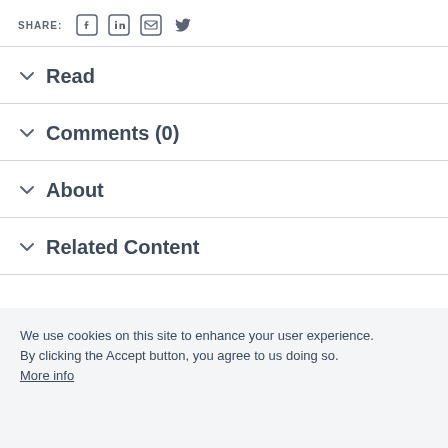SHARE: [Facebook] [LinkedIn] [Email] [Twitter]
Read
Comments (0)
About
Related Content
We use cookies on this site to enhance your user experience.
By clicking the Accept button, you agree to us doing so.
More info